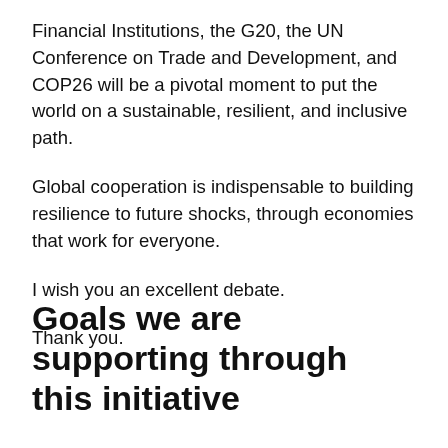Financial Institutions, the G20, the UN Conference on Trade and Development, and COP26 will be a pivotal moment to put the world on a sustainable, resilient, and inclusive path.
Global cooperation is indispensable to building resilience to future shocks, through economies that work for everyone.
I wish you an excellent debate.
Thank you.
Goals we are supporting through this initiative